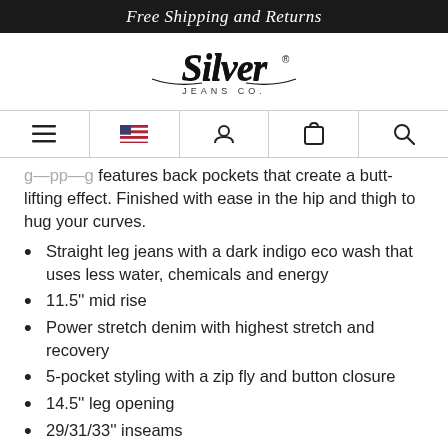Free Shipping and Returns
[Figure (logo): Silver Jeans Co. logo in cursive/script style]
[Figure (screenshot): Navigation bar with hamburger menu, US flag, user/account icon, bag/cart icon, and search icon]
features back pockets that create a butt-lifting effect. Finished with ease in the hip and thigh to hug your curves.
Straight leg jeans with a dark indigo eco wash that uses less water, chemicals and energy
11.5" mid rise
Power stretch denim with highest stretch and recovery
5-pocket styling with a zip fly and button closure
14.5" leg opening
29/31/33" inseams